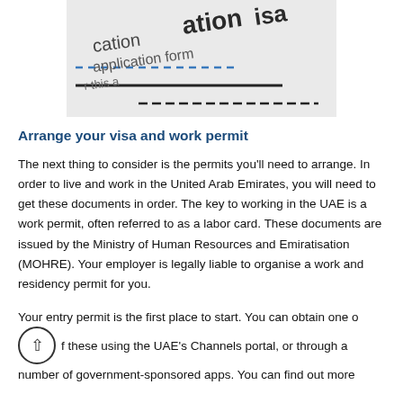[Figure (photo): A close-up photograph of a visa application form with text 'ation', 'cation', 'application form', and diagonal lines visible on the document.]
Arrange your visa and work permit
The next thing to consider is the permits you'll need to arrange. In order to live and work in the United Arab Emirates, you will need to get these documents in order. The key to working in the UAE is a work permit, often referred to as a labor card. These documents are issued by the Ministry of Human Resources and Emiratisation (MOHRE). Your employer is legally liable to organise a work and residency permit for you.
Your entry permit is the first place to start. You can obtain one of these using the UAE's Channels portal, or through a number of government-sponsored apps. You can find out more